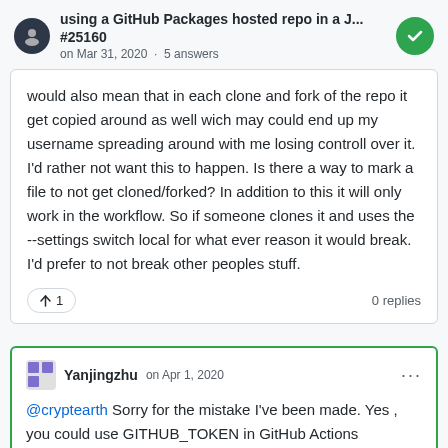using a GitHub Packages hosted repo in a J... #25160 · on Mar 31, 2020 · 5 answers
would also mean that in each clone and fork of the repo it get copied around as well wich may could end up my username spreading around with me losing controll over it. I'd rather not want this to happen. Is there a way to mark a file to not get cloned/forked? In addition to this it will only work in the workflow. So if someone clones it and uses the --settings switch local for what ever reason it would break. I'd prefer to not break other peoples stuff.
↑ 1    0 replies
Yanjingzhu on Apr 1, 2020
@cryptearth Sorry for the mistake I've been made. Yes , you could use GITHUB_TOKEN in GitHub Actions workflow.